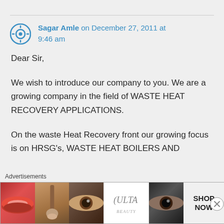Sagar Amle on December 27, 2011 at 9:46 am
Dear Sir,

We wish to introduce our company to you. We are a growing company in the field of WASTE HEAT RECOVERY APPLICATIONS.

On the waste Heat Recovery front our growing focus is on HRSG's, WASTE HEAT BOILERS AND
Advertisements
[Figure (other): Advertisement banner showing cosmetics/beauty products including lips, makeup brush, eye, Ulta Beauty logo, eye with makeup, and SHOP NOW text]